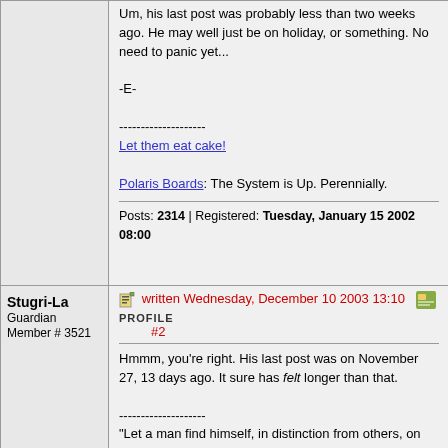Um, his last post was probably less than two weeks ago. He may well just be on holiday, or something. No need to panic yet...

-E-

--------------------
Let them eat cake!

Polaris Boards: The System is Up. Perennially.
Posts: 2314 | Registered: Tuesday, January 15 2002 08:00
Stugri-La
Guardian
Member # 3521
written Wednesday, December 10 2003 13:10 #2
Hmmm, you're right. His last post was on November 27, 13 days ago. It sure has felt longer than that.

--------------------
"Let a man find himself, in distinction from others, on top of two wheels with a chain- at least in a poor country like Russia- and his vanity begins to swell out